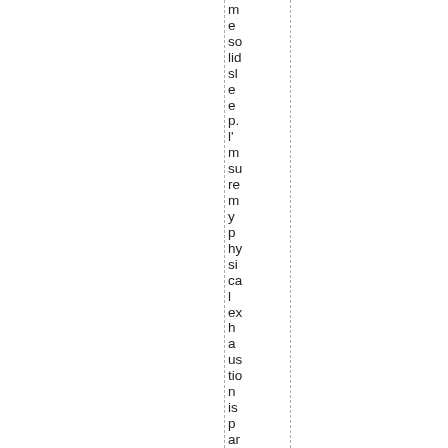me solid sl ee p. l' m su re m y p hy si ca l ex h a us tio n is p ar tly fr